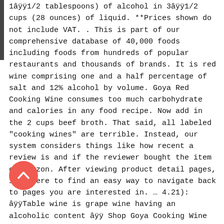1â½1/2 tablespoons) of alcohol in 3â½1/2 cups (28 ounces) of liquid. **Prices shown do not include VAT. . This is part of our comprehensive database of 40,000 foods including foods from hundreds of popular restaurants and thousands of brands. It is red wine comprising one and a half percentage of salt and 12% alcohol by volume. Goya Red Cooking Wine consumes too much carbohydrate and calories in any food recipe. Now add in the 2 cups beef broth. That said, all labeled "cooking wines" are terrible. Instead, our system considers things like how recent a review is and if the reviewer bought the item on Amazon. After viewing product detail pages, look here to find an easy way to navigate back to pages you are interested in. … 4.21): â½Table wine is grape wine having an alcoholic content â½ Shop Goya Cooking Wine Red - 25.4 Fl. Your recently viewed items and featured recommendations, Select the department you want to search in. Disclaimer: While we work to ensure that product information is correct, on occasion
[Figure (illustration): A circular red/orange back-to-top button with a white upward chevron arrow icon]